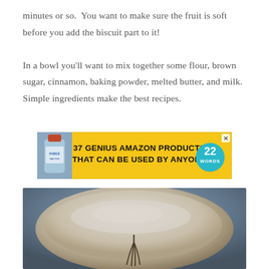minutes or so.  You want to make sure the fruit is soft before you add the biscuit part to it!

In a bowl you'll want to mix together some flour, brown sugar, cinnamon, baking powder, melted butter, and milk.  Simple ingredients make the best recipes.
[Figure (other): Advertisement banner with yellow background showing a supplement bottle on the left, bold black text '37 GENIUS AMAZON PRODUCTS THAT CAN BE USED BY ANYONE' in the center, and a teal circular badge with '22 WORDS' on the right. An X close button is in the top right corner.]
[Figure (photo): Close-up photo of a bowl filled with flour or dry ingredients, with a whisk visible at the bottom of the bowl. The background shows a blurred kitchen setting.]